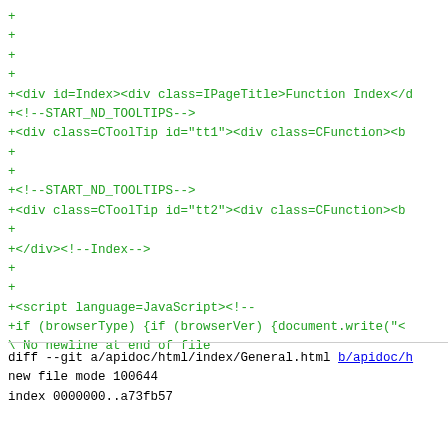+
+
+
+
+<div id=Index><div class=IPageTitle>Function Index</d
+<!--START_ND_TOOLTIPS-->
+<div class=CToolTip id="tt1"><div class=CFunction><b
+
+
+<!--START_ND_TOOLTIPS-->
+<div class=CToolTip id="tt2"><div class=CFunction><b
+
+</div><!--Index-->
+
+
+<script language=JavaScript><!--
+if (browserType) {if (browserVer) {document.write("<
\ No newline at end of file
diff --git a/apidoc/html/index/General.html b/apidoc/h
new file mode 100644
index 0000000..a73fb57